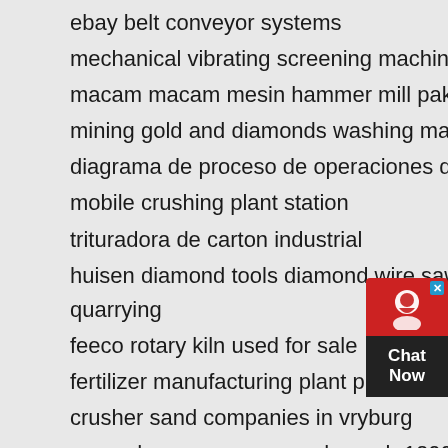ebay belt conveyor systems
mechanical vibrating screening machine
macam macam mesin hammer mill pakan ternak
mining gold and diamonds washing machine
diagrama de proceso de operaciones de una mesa
mobile crushing plant station
trituradora de carton industrial
huisen diamond tools diamond wire saw beads for stone quarrying
feeco rotary kiln used for sale
fertilizer manufacturing plant pictures
crusher sand companies in vryburg
como desarmar cone crusher pyb 1200 videos
domestic mini dry grinder india
piranha pump for sale
swaco md 3 shaker screen for drilling mud process system shale shaker
1 2 end mill 2 flute